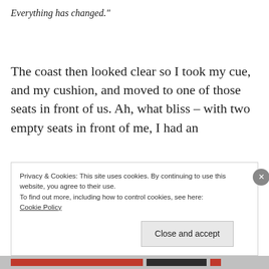Everything has changed.”
The coast then looked clear so I took my cue, and my cushion, and moved to one of those seats in front of us. Ah, what bliss – with two empty seats in front of me, I had an
Privacy & Cookies: This site uses cookies. By continuing to use this website, you agree to their use.
To find out more, including how to control cookies, see here:
Cookie Policy
Close and accept